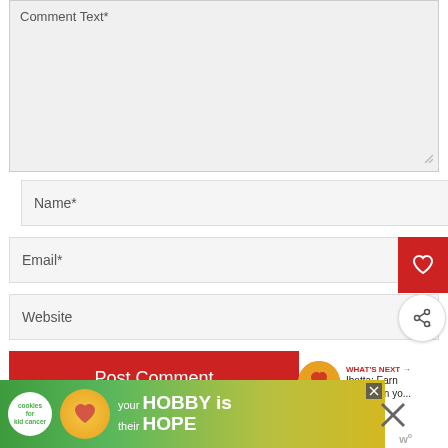Comment Text*
Name*
Email*
Website
Post Comment
WHAT'S NEXT → Ibotta: Earn $10 when yo...
[Figure (screenshot): Advertisement banner: cookies for kid cancer, your HOBBY is their HOPE]
[Figure (other): Close X button and W logo]